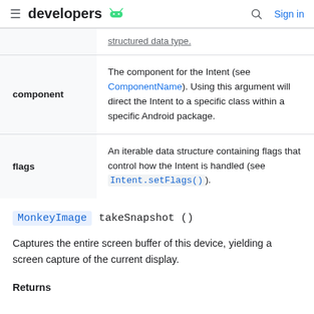developers (android logo) | Search | Sign in
| parameter | description |
| --- | --- |
|  | structured data type. |
| component | The component for the Intent (see ComponentName). Using this argument will direct the Intent to a specific class within a specific Android package. |
| flags | An iterable data structure containing flags that control how the Intent is handled (see Intent.setFlags()). |
MonkeyImage takeSnapshot ()
Captures the entire screen buffer of this device, yielding a screen capture of the current display.
Returns